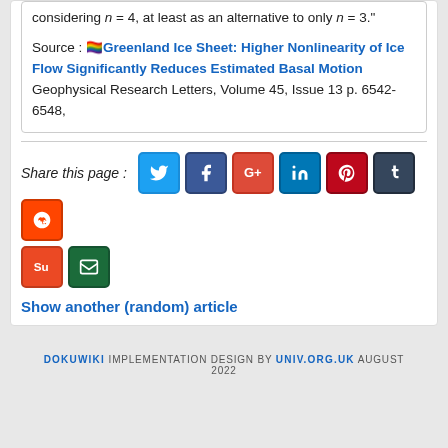considering n = 4, at least as an alternative to only n = 3."
Source : 🏳️‍🌈 Greenland Ice Sheet: Higher Nonlinearity of Ice Flow Significantly Reduces Estimated Basal Motion Geophysical Research Letters, Volume 45, Issue 13 p. 6542-6548,
Share this page :
Show another (random) article
DOKUWIKI IMPLEMENTATION DESIGN BY UNIV.ORG.UK AUGUST 2022